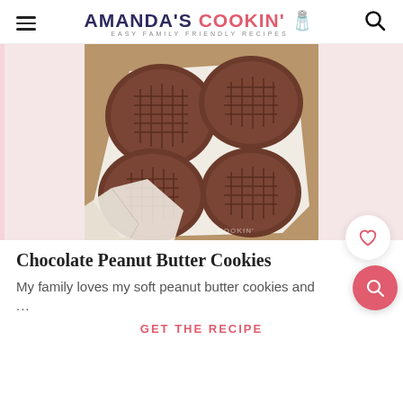AMANDA'S COOKIN' EASY FAMILY FRIENDLY RECIPES
[Figure (photo): Chocolate peanut butter cookies in a white parchment-lined baking pan, top-down view, dark brown cookies with crosshatch fork pattern]
Chocolate Peanut Butter Cookies
My family loves my soft peanut butter cookies and ...
GET THE RECIPE